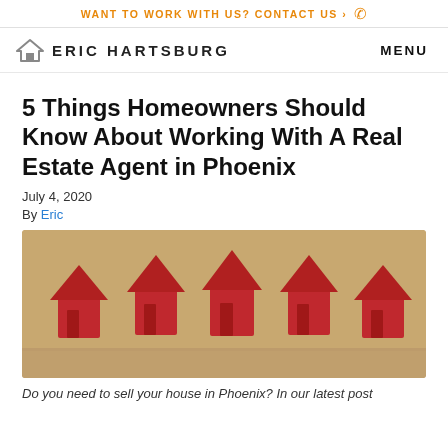WANT TO WORK WITH US? CONTACT US >
ERIC HARTSBURG  MENU
5 Things Homeowners Should Know About Working With A Real Estate Agent in Phoenix
July 4, 2020
By Eric
[Figure (photo): Five red house-shaped figurines in a row on a wooden surface]
Do you need to sell your house in Phoenix? In our latest post